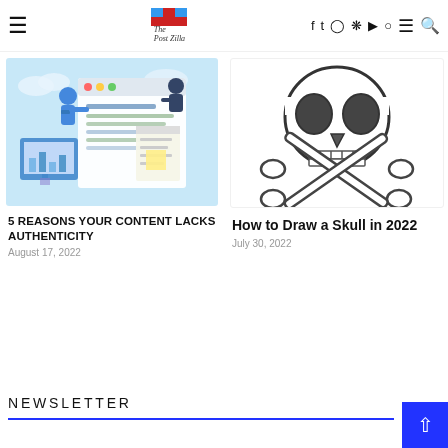The Post Zilla — navigation header with social icons
[Figure (illustration): Two cartoon figures working on a web page/content management interface with browser windows and design elements on a light blue background]
5 REASONS YOUR CONTENT LACKS AUTHENTICITY
August 17, 2022
[Figure (illustration): Black and white line drawing of a skull and crossbones]
How to Draw a Skull in 2022
July 30, 2022
NEWSLETTER